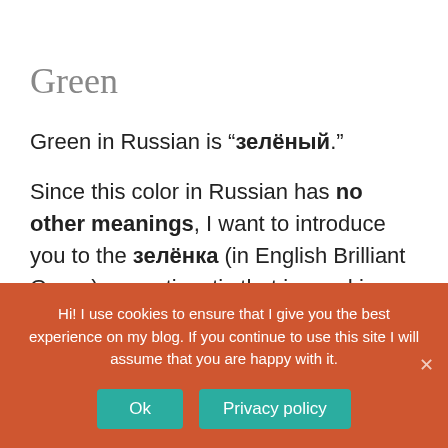Green
Green in Russian is “зелёный.”
Since this color in Russian has no other meanings, I want to introduce you to the зелёнка (in English Brilliant Green): an antiseptic that is used in Russia to heal virtually any cuts, wounds, bruises and so on.
Hi! I use cookies to ensure that I give you the best experience on my blog. If you continue to use this site I will assume that you are happy with it.